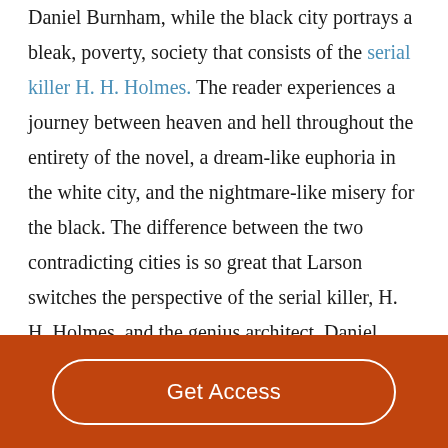Daniel Burnham, while the black city portrays a bleak, poverty, society that consists of the serial killer H. H. Holmes. The reader experiences a journey between heaven and hell throughout the entirety of the novel, a dream-like euphoria in the white city, and the nightmare-like misery for the black. The difference between the two contradicting cities is so great that Larson switches the perspective of the serial killer, H. H. Holmes, and the genius architect, Daniel
Get Access